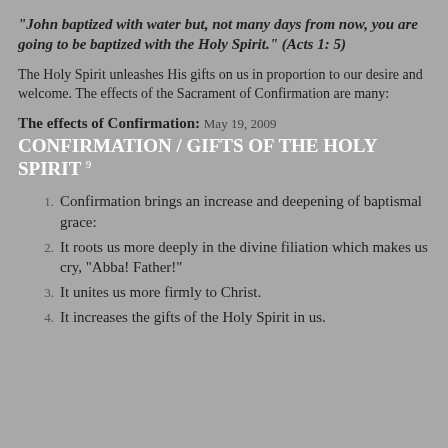"John baptized with water but, not many days from now, you are going to be baptized with the Holy Spirit." (Acts 1: 5)
The Holy Spirit unleashes His gifts on us in proportion to our desire and welcome. The effects of the Sacrament of Confirmation are many:
The effects of Confirmation: May 19, 2009
CONFIRMATION / GIFTS OF THE HOLY SPIRIT 9
Confirmation brings an increase and deepening of baptismal grace:
It roots us more deeply in the divine filiation which makes us cry, "Abba! Father!"
It unites us more firmly to Christ.
It increases the gifts of the Holy Spirit in us.